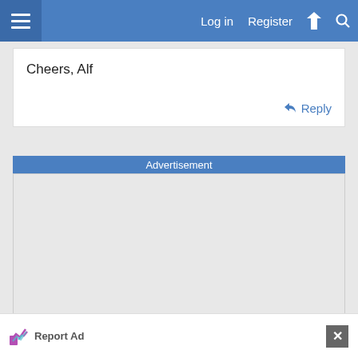Log in  Register
Cheers, Alf
Reply
Advertisement
[Figure (other): Advertisement placeholder area, light grey background]
Report Ad